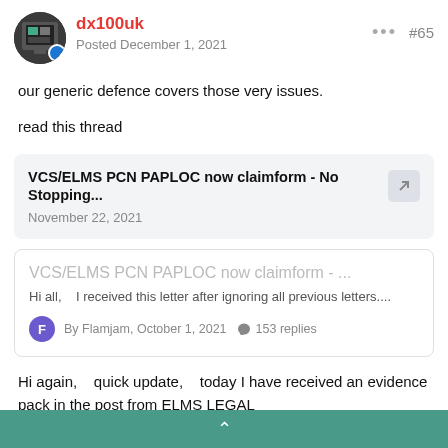dx100uk — Posted December 1, 2021 — #65
our generic defence covers those very issues.
read this thread
[Figure (screenshot): Link card showing thread: VCS/ELMS PCN PAPLOC now claimform - No Stopping..., November 22, 2021]
[Figure (screenshot): Nested card: VCS/ELMS PCN PAPLOC now claimform - ..., Hi all, I received this letter after ignoring all previous letters.... By Flamjam, October 1, 2021, 153 replies]
Hi again,    quick update,    today I have received an evidence pack in the post from ELMS LEGAL
^